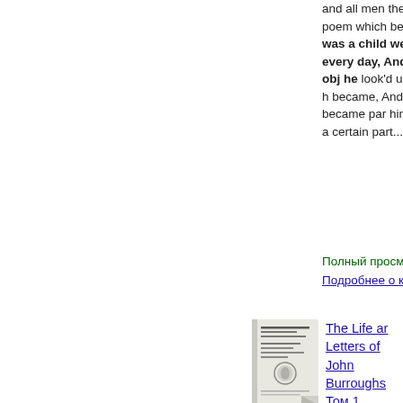and all men the famous poem which begins: There was a child went forth every day, And the first object he look'd upon, that object he became, And that object became part of him for the day or a certain part...
Полный просмотр - Подробнее о книге
[Figure (photo): Book cover thumbnail for The Life and Letters of John Burroughs, Tom 1]
The Life and Letters of John Burroughs Том 1
Clara Barrus